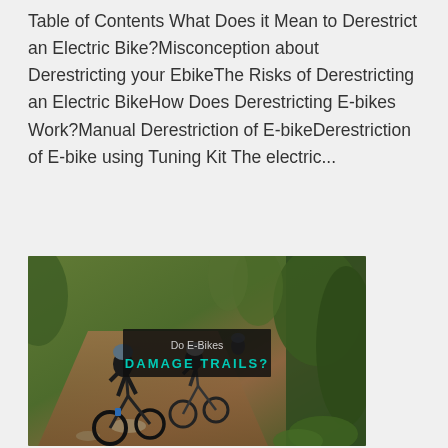Table of Contents What Does it Mean to Derestrict an Electric Bike?Misconception about Derestricting your EbikeThe Risks of Derestricting an Electric BikeHow Does Derestricting E-bikes Work?Manual Derestriction of E-bikeDerestriction of E-bike using Tuning Kit The electric...
[Figure (photo): Photo of two e-bike riders on a dirt trail in a forest setting. A dark overlay banner in the center reads 'Do E-Bikes' on top and 'DAMAGE TRAILS?' below in teal/cyan text.]